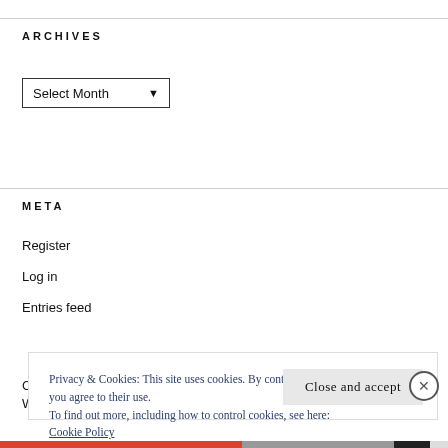ARCHIVES
Select Month
META
Register
Log in
Entries feed
Privacy & Cookies: This site uses cookies. By continuing to use this website, you agree to their use.
To find out more, including how to control cookies, see here:
Cookie Policy
Close and accept